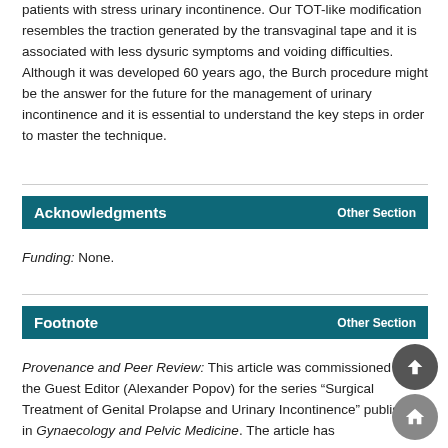patients with stress urinary incontinence. Our TOT-like modification resembles the traction generated by the transvaginal tape and it is associated with less dysuric symptoms and voiding difficulties. Although it was developed 60 years ago, the Burch procedure might be the answer for the future for the management of urinary incontinence and it is essential to understand the key steps in order to master the technique.
Acknowledgments
Funding: None.
Footnote
Provenance and Peer Review: This article was commissioned by the Guest Editor (Alexander Popov) for the series “Surgical Treatment of Genital Prolapse and Urinary Incontinence” published in Gynaecology and Pelvic Medicine. The article has